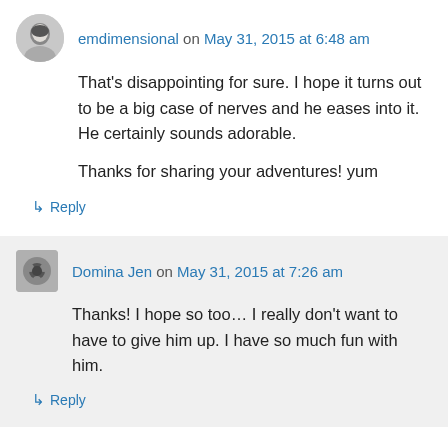emdimensional on May 31, 2015 at 6:48 am
That's disappointing for sure. I hope it turns out to be a big case of nerves and he eases into it. He certainly sounds adorable.

Thanks for sharing your adventures! yum
↳ Reply
Domina Jen on May 31, 2015 at 7:26 am
Thanks! I hope so too… I really don't want to have to give him up. I have so much fun with him.
↳ Reply